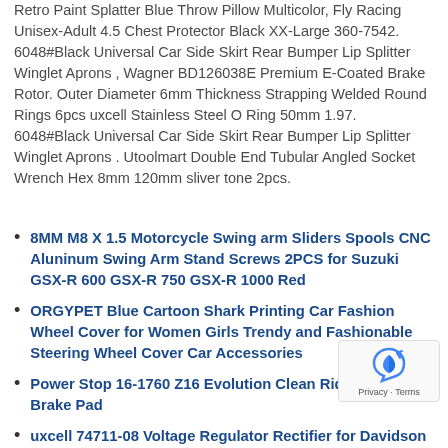Retro Paint Splatter Blue Throw Pillow Multicolor, Fly Racing Unisex-Adult 4.5 Chest Protector Black XX-Large 360-7542. 6048#Black Universal Car Side Skirt Rear Bumper Lip Splitter Winglet Aprons , Wagner BD126038E Premium E-Coated Brake Rotor. Outer Diameter 6mm Thickness Strapping Welded Round Rings 6pcs uxcell Stainless Steel O Ring 50mm 1.97. 6048#Black Universal Car Side Skirt Rear Bumper Lip Splitter Winglet Aprons . Utoolmart Double End Tubular Angled Socket Wrench Hex 8mm 120mm sliver tone 2pcs.
8MM M8 X 1.5 Motorcycle Swing arm Sliders Spools CNC Aluninum Swing Arm Stand Screws 2PCS for Suzuki GSX-R 600 GSX-R 750 GSX-R 1000 Red
ORGYPET Blue Cartoon Shark Printing Car Fashion Wheel Cover for Women Girls Trendy and Fashionable Steering Wheel Cover Car Accessories
Power Stop 16-1760 Z16 Evolution Clean Ride Ceramic Brake Pad
uxcell 74711-08 Voltage Regulator Rectifier for Davidson Sportster XL 883 XL1200